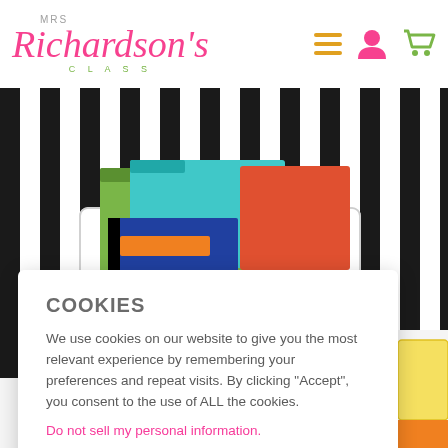[Figure (logo): Mrs Richardson's Class logo with pink cursive text and green CLASS text]
[Figure (photo): Photo of colorful folders/binders in a white decorative basket against black and white striped background]
COOKIES
We use cookies on our website to give you the most relevant experience by remembering your preferences and repeat visits. By clicking “Accept”, you consent to the use of ALL the cookies.
Do not sell my personal information.
Cookie Settings
Accept